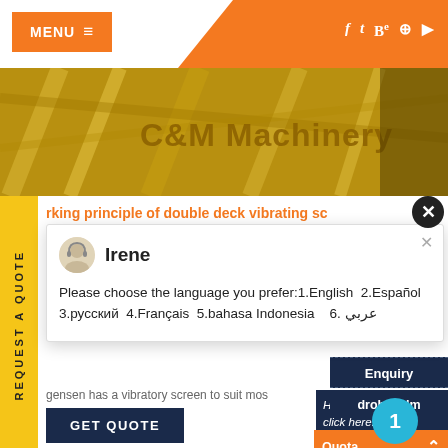MENU  ☰
[Figure (screenshot): C&M Machinery yellow industrial machinery image banner]
rking principle of double deck vibrating sc
Irene
Please choose the language you prefer:1.English  2.Español 3.русский  4.Français  5.bahasa Indonesia   6. عربي
gensen has a vibratory screen to suit mos
GET QUOTE
Have any m click here.
Quota
Enquiry
drobilkalm